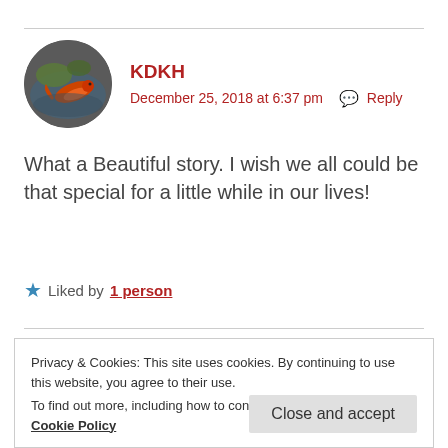[Figure (photo): Circular avatar image showing a koi fish in a pond with lily pads]
KDKH
December 25, 2018 at 6:37 pm  Reply
What a Beautiful story. I wish we all could be that special for a little while in our lives!
Liked by 1 person
Privacy & Cookies: This site uses cookies. By continuing to use this website, you agree to their use. To find out more, including how to control cookies, see here: Cookie Policy
Close and accept
someone.